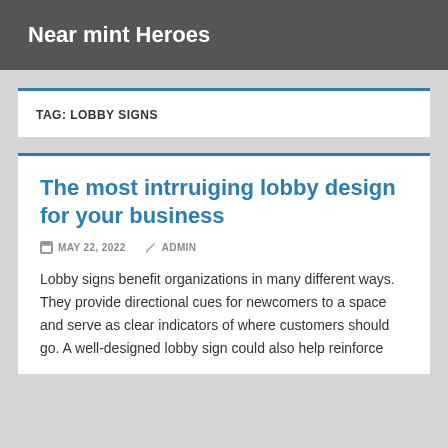Near mint Heroes
TAG: LOBBY SIGNS
The most intrruiging lobby design for your business
MAY 22, 2022   ADMIN
Lobby signs benefit organizations in many different ways. They provide directional cues for newcomers to a space and serve as clear indicators of where customers should go. A well-designed lobby sign could also help reinforce